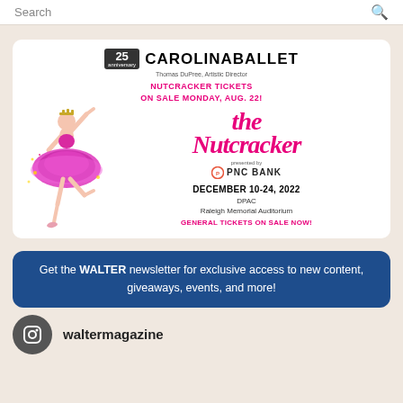Search
[Figure (illustration): Carolina Ballet advertisement for The Nutcracker. Shows 25th anniversary logo, Carolina Ballet branding by Artistic Director, pink promotional text 'NUTCRACKER TICKETS ON SALE MONDAY, AUG. 22!', a ballerina in pink tutu, decorative script 'The Nutcracker', PNC Bank sponsorship, dates DECEMBER 10-24, 2022, venues DPAC and Raleigh Memorial Auditorium, and 'GENERAL TICKETS ON SALE NOW!' in pink.]
Get the WALTER newsletter for exclusive access to new content, giveaways, events, and more!
waltermagazine